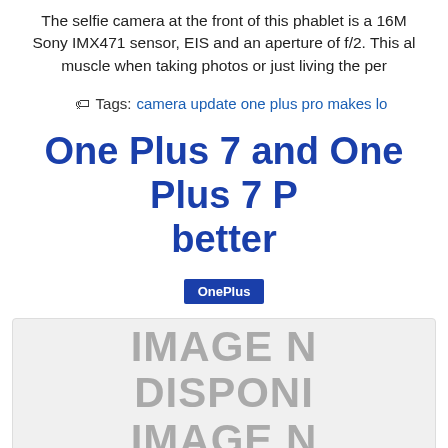The selfie camera at the front of this phablet is a 16M Sony IMX471 sensor, EIS and an aperture of f/2. This al muscle when taking photos or just living the per
Tags: camera update one plus pro makes lo
One Plus 7 and One Plus 7 P better
OnePlus
[Figure (photo): Image placeholder showing IMAGE N DISPONI IMAGE N text in gray on light background]